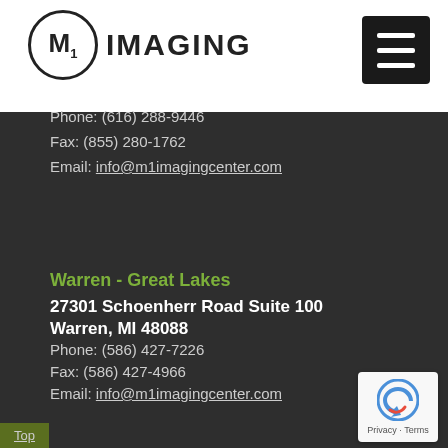[Figure (logo): M1 Imaging logo: circle with M inside, followed by text IMAGING]
[Figure (other): Hamburger menu button (three horizontal white lines on black rectangle)]
Phone: (616) 288-9446
Fax: (855) 280-1762
Email: info@m1imagingcenter.com
Warren - Great Lakes
27301 Schoenherr Road Suite 100
Warren, MI 48088
Phone: (586) 427-7226
Fax: (586) 427-4966
Email: info@m1imagingcenter.com
Top
[Figure (other): reCAPTCHA badge with arrow icon and Privacy - Terms text]